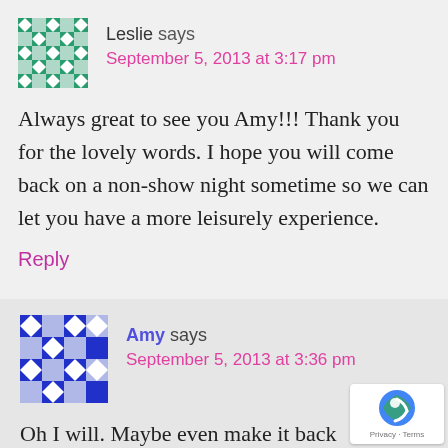[Figure (illustration): Avatar image for Leslie — decorative geometric cross-hatch pattern in teal/green and white]
Leslie says
September 5, 2013 at 3:17 pm
Always great to see you Amy!!! Thank you for the lovely words. I hope you will come back on a non-show night sometime so we can let you have a more leisurely experience.
Reply
[Figure (illustration): Avatar image for Amy — decorative geometric pattern in blue/purple and white]
Amy says
September 5, 2013 at 3:36 pm
Oh I will. Maybe even make it back